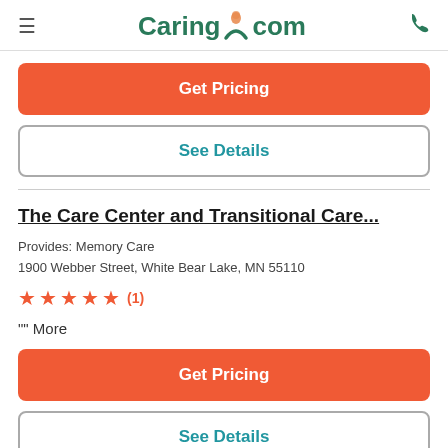Caring.com
Get Pricing
See Details
The Care Center and Transitional Care...
Provides: Memory Care
1900 Webber Street, White Bear Lake, MN 55110
★★★★★ (1)
"" More
Get Pricing
See Details